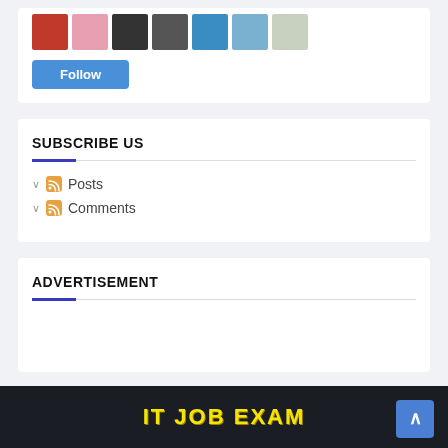[Figure (photo): Row of 7 avatar/profile thumbnails]
Follow
SUBSCRIBE US
Posts
Comments
ADVERTISEMENT
IT JOB EXAM